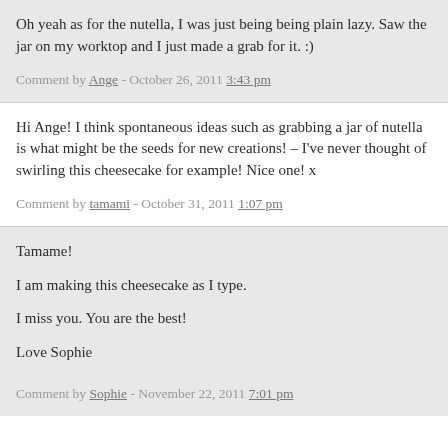Oh yeah as for the nutella, I was just being being plain lazy. Saw the jar on my worktop and I just made a grab for it. :)
Comment by Ange - October 26, 2011 3:43 pm
Hi Ange! I think spontaneous ideas such as grabbing a jar of nutella is what might be the seeds for new creations! – I've never thought of swirling this cheesecake for example! Nice one! x
Comment by tamami - October 31, 2011 1:07 pm
Tamame!

I am making this cheesecake as I type.

I miss you. You are the best!

Love Sophie
Comment by Sophie - November 22, 2011 7:01 pm